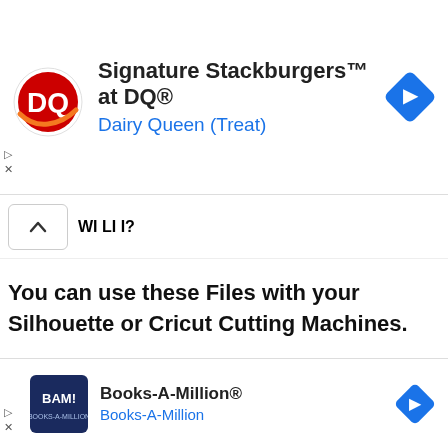[Figure (screenshot): Dairy Queen advertisement banner with DQ logo, text 'Signature Stackburgers™ at DQ®' and 'Dairy Queen (Treat)', and a blue diamond navigation arrow icon]
WI LI I?
You can use these Files with your Silhouette or Cricut Cutting Machines.
[Figure (screenshot): Books-A-Million advertisement banner with BAM! logo, text 'Books-A-Million®' and 'Books-A-Million', and a blue diamond navigation arrow icon]